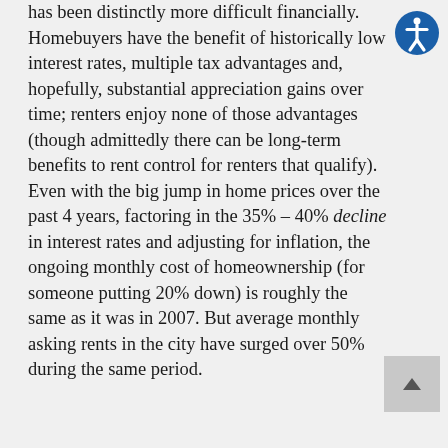has been distinctly more difficult financially. Homebuyers have the benefit of historically low interest rates, multiple tax advantages and, hopefully, substantial appreciation gains over time; renters enjoy none of those advantages (though admittedly there can be long-term benefits to rent control for renters that qualify). Even with the big jump in home prices over the past 4 years, factoring in the 35% – 40% decline in interest rates and adjusting for inflation, the ongoing monthly cost of homeownership (for someone putting 20% down) is roughly the same as it was in 2007. But average monthly asking rents in the city have surged over 50% during the same period.